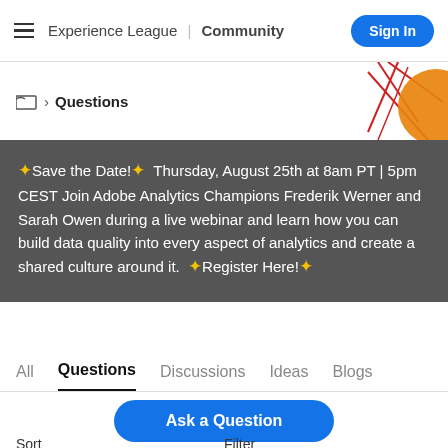Experience League | Community  Sign In
Questions
🌟Save the Date!🌟  Thursday, August 25th at 8am PT | 5pm CEST Join Adobe Analytics Champions Frederik Werner and Sarah Owen during a live webinar and learn how you can build data quality into every aspect of analytics and create a shared culture around it. 🌟Register Here!🌟
All  Questions  Discussions  Ideas  Blogs
Ask a Question
Sort
Filter